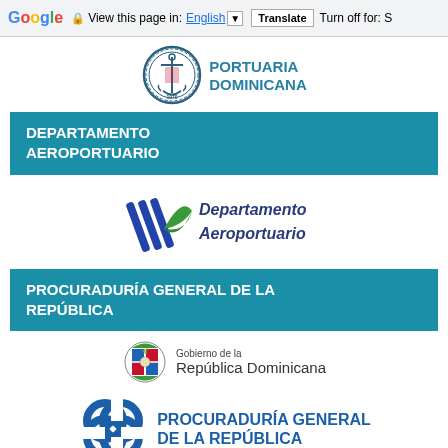Google  View this page in: English [▼]  Translate  Turn off for: S
[Figure (logo): Autoridad Portuaria Dominicana seal/emblem with text PORTUARIA DOMINICANA]
DEPARTAMENTO AEROPORTUARIO
[Figure (logo): Departamento Aeroportuario logo with blue diagonal stripes and green leaf/wing element]
PROCURADURÍA GENERAL DE LA REPÚBLICA
[Figure (logo): Gobierno de la República Dominicana coat of arms logo]
[Figure (logo): Procuraduría General de la República logo with interlocking blue rings]